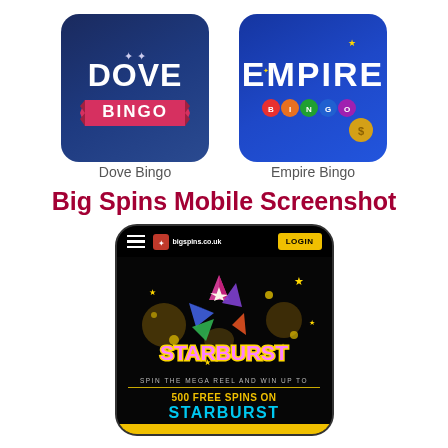[Figure (logo): Dove Bingo logo - dark blue rounded square with white dove and pink ribbon banner]
Dove Bingo
[Figure (logo): Empire Bingo logo - blue rounded square with gold EMPIRE text and bingo balls]
Empire Bingo
Big Spins Mobile Screenshot
[Figure (screenshot): Mobile screenshot of bigspins.co.uk showing Starburst game promotion: hamburger menu, LOGIN button, Starburst gem star graphic, 'SPIN THE MEGA REEL AND WIN UP TO', '500 FREE SPINS ON STARBURST' text]